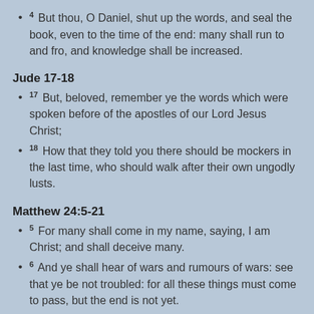4 But thou, O Daniel, shut up the words, and seal the book, even to the time of the end: many shall run to and fro, and knowledge shall be increased.
Jude 17-18
17 But, beloved, remember ye the words which were spoken before of the apostles of our Lord Jesus Christ;
18 How that they told you there should be mockers in the last time, who should walk after their own ungodly lusts.
Matthew 24:5-21
5 For many shall come in my name, saying, I am Christ; and shall deceive many.
6 And ye shall hear of wars and rumours of wars: see that ye be not troubled: for all these things must come to pass, but the end is not yet.